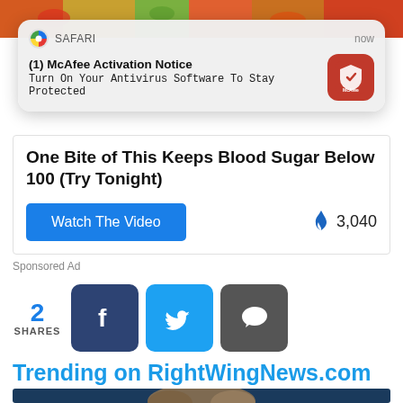[Figure (screenshot): Top strip showing food image background (vegetables, peppers)]
[Figure (screenshot): Safari browser push notification popup: '(1) McAfee Activation Notice - Turn On Your Antivirus Software To Stay Protected' with McAfee red icon, timestamped 'now']
One Bite of This Keeps Blood Sugar Below 100 (Try Tonight)
Watch The Video
🔥 3,040
Sponsored Ad
2 SHARES
Trending on RightWingNews.com
[Figure (photo): Partial photo of a person with curly/wavy hair in front of dark blue background, cropped at bottom of page]